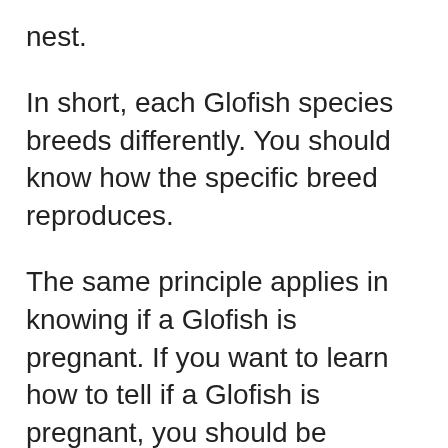nest.
In short, each Glofish species breeds differently. You should know how the specific breed reproduces.
The same principle applies in knowing if a Glofish is pregnant. If you want to learn how to tell if a Glofish is pregnant, you should be familiar with its species.
Let’s take the danio again as an example. Because danios are not livebearers, they don’t get pregnant. The closest they get to